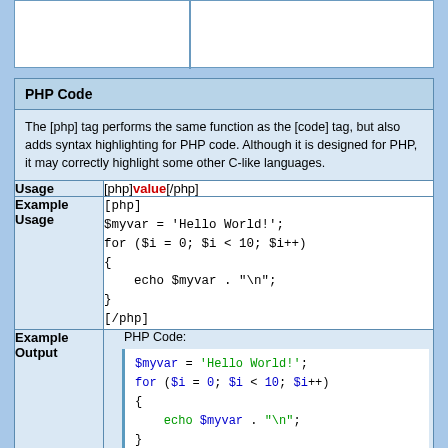| PHP Code |
| --- |
| The [php] tag performs the same function as the [code] tag, but also adds syntax highlighting for PHP code. Although it is designed for PHP, it may correctly highlight some other C-like languages. |
| Usage | [php]value[/php] |
| Example Usage | [php]
$myvar = 'Hello World!';
for ($i = 0; $i < 10; $i++)
{
    echo $myvar . "\n";
}
[/php] |
| Example Output | PHP Code:
$myvar = 'Hello World!';
for ($i = 0; $i < 10; $i++)
{
    echo $myvar . "\n";
} |